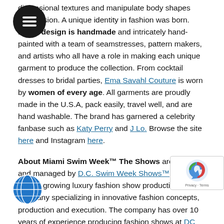dimensional textures and manipulate body shapes with illusion. A unique identity in fashion was born. Every design is handmade and intricately hand-painted with a team of seamstresses, pattern makers, and artists who all have a role in making each unique garment to produce the collection. From cocktail dresses to bridal parties, Ema Savahl Couture is worn by women of every age. All garments are proudly made in the U.S.A, pack easily, travel well, and are hand washable. The brand has garnered a celebrity fanbase such as Katy Perry and J Lo. Browse the site here and Instagram here. About Miami Swim Week™ The Shows are owned and managed by D.C. Swim Week Shows™ and is the fastest growing luxury fashion show production company specializing in innovative fashion concepts, production and execution. The company has over 10 years of experience producing fashion shows at DC Swim Week, Miami Swim Week...